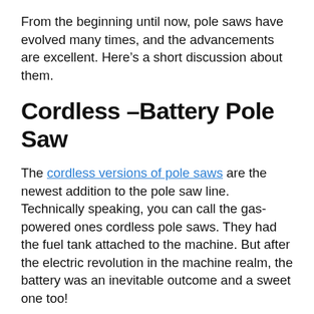From the beginning until now, pole saws have evolved many times, and the advancements are excellent. Here’s a short discussion about them.
Cordless –Battery Pole Saw
The cordless versions of pole saws are the newest addition to the pole saw line. Technically speaking, you can call the gas-powered ones cordless pole saws. They had the fuel tank attached to the machine. But after the electric revolution in the machine realm, the battery was an inevitable outcome and a sweet one too!
Battery powered pole saws are like hone…